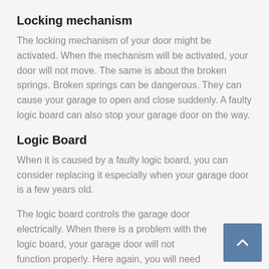Locking mechanism
The locking mechanism of your door might be activated. When the mechanism will be activated, your door will not move. The same is about the broken springs. Broken springs can be dangerous. They can cause your garage to open and close suddenly. A faulty logic board can also stop your garage door on the way.
Logic Board
When it is caused by a faulty logic board, you can consider replacing it especially when your garage door is a few years old.
The logic board controls the garage door electrically. When there is a problem with the logic board, your garage door will not function properly. Here again, you will need the help of professionals if you do not understand the logic board and its operating process.
These are a few conditions that can intervene in the